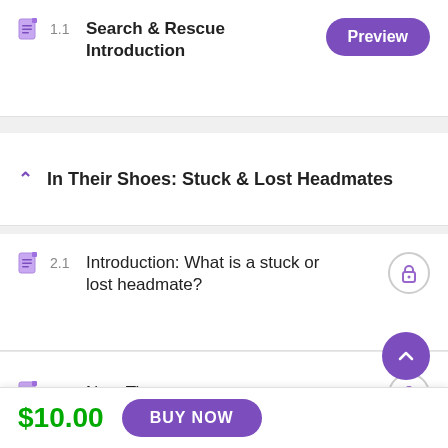1.1 Search & Rescue Introduction [Preview]
In Their Shoes: Stuck & Lost Headmates
2.1 Introduction: What is a stuck or lost headmate? [locked]
2.2 Now-Time [locked]
2.3 Understanding the There & Ther...
$10.00  BUY NOW